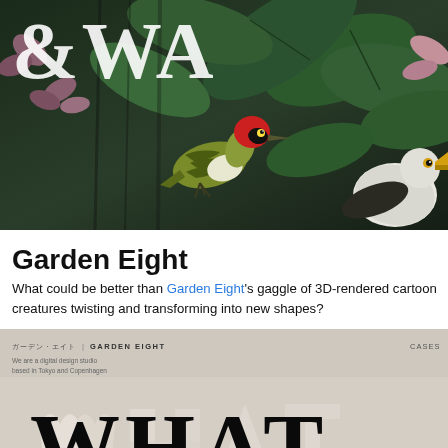[Figure (screenshot): Website screenshot showing a botanical/nature themed dark background with illustrated birds and plants. Large white serif text '&WA' visible at top. A 'SHOP NOW' button outlined in white is visible on the right side. Features detailed illustrations of a green woodpecker with red head and a pelican/toucan bird among large tropical leaves.]
Garden Eight
What could be better than Garden Eight's gaggle of 3D-rendered cartoon creatures twisting and transforming into new shapes?
[Figure (screenshot): Website screenshot of Garden Eight studio site with beige/taupe background. Navigation shows Japanese text, 'GARDEN EIGHT' branding and 'CASES' menu item. Tagline reads 'We are a digital design studio based in Tokyo and Copenhagen'. Large black serif 'WHAT' text visible at bottom with 3D white sculptural letter forms.]